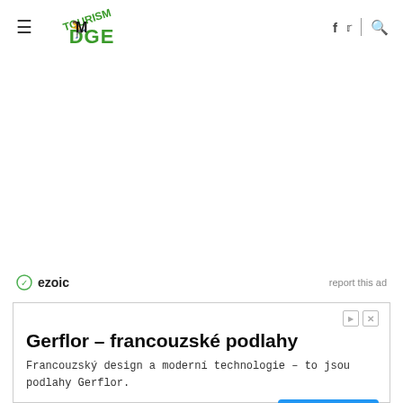Tourism EDGE — navigation header with hamburger menu, logo, social icons (f, twitter), divider, search icon
[Figure (logo): Tourism EDGE logo: green stylized text with a running figure]
ezoic   report this ad
[Figure (screenshot): Advertisement banner: Gerflor - francouzské podlahy. Francouzský design a moderní technologie - to jsou podlahy Gerflor. Gerflor s.r.o. | Přejit Na Web button]